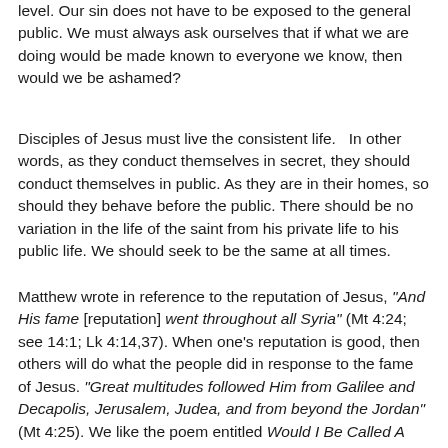level. Our sin does not have to be exposed to the general public. We must always ask ourselves that if what we are doing would be made known to everyone we know, then would we be ashamed?
Disciples of Jesus must live the consistent life.   In other words, as they conduct themselves in secret, they should conduct themselves in public. As they are in their homes, so should they behave before the public. There should be no variation in the life of the saint from his private life to his public life. We should seek to be the same at all times.
Matthew wrote in reference to the reputation of Jesus, "And His fame [reputation] went throughout all Syria" (Mt 4:24; see 14:1; Lk 4:14,37). When one's reputation is good, then others will do what the people did in response to the fame of Jesus. "Great multitudes followed Him from Galilee and Decapolis, Jerusalem, Judea, and from beyond the Jordan" (Mt 4:25). We like the poem entitled Would I Be Called A Christian? that was written on behalf...